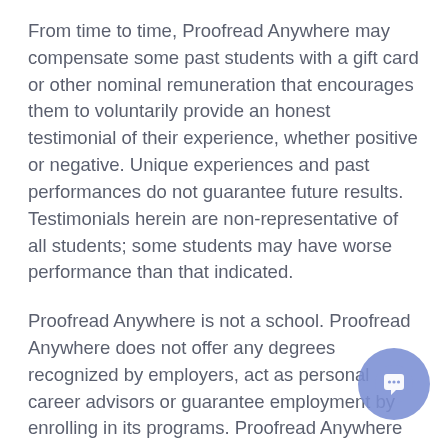From time to time, Proofread Anywhere may compensate some past students with a gift card or other nominal remuneration that encourages them to voluntarily provide an honest testimonial of their experience, whether positive or negative. Unique experiences and past performances do not guarantee future results. Testimonials herein are non-representative of all students; some students may have worse performance than that indicated.
Proofread Anywhere is not a school. Proofread Anywhere does not offer any degrees recognized by employers, act as personal career advisors or guarantee employment by enrolling in its programs. Proofread Anywhere does not offer or believe in “get-rich-quick schemes.” General Proofreading: Theory & Practice, Transcript Proofreading: Theory & Practice, and any other Proofread Anywhere products are not “get-rich-quick schemes.” It takes substantial time, effort, and dedication to be successful with any
[Figure (other): A circular chat/support button with a speech bubble icon, colored in blue-purple, positioned in the bottom right corner of the page.]